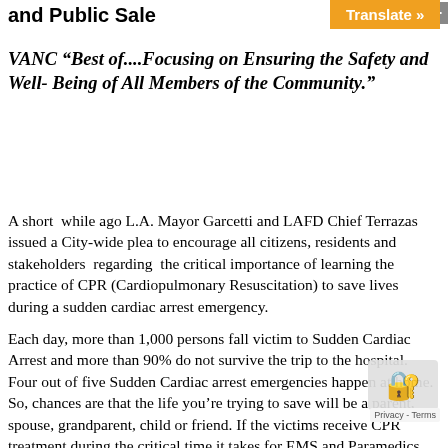and Public Safe
VANC “Best of....Focusing on Ensuring the Safety and Well- Being of All Members of the Community.”
A short  while ago L.A. Mayor Garcetti and LAFD Chief Terrazas issued a City-wide plea to encourage all citizens, residents and stakeholders  regarding  the critical importance of learning the practice of CPR (Cardiopulmonary Resuscitation) to save lives during a sudden cardiac arrest emergency.
Each day, more than 1,000 persons fall victim to Sudden Cardiac Arrest and more than 90% do not survive the trip to the hospital. Four out of five Sudden Cardiac arrest emergencies happen at home. So, chances are that the life you’re trying to save will be a parent, spouse, grandparent, child or friend. If the victims receive CPR treatment during the critical time it takes for EMS and Paramedics to arrive, we can double or even triple the survival rate. We realize that it’s all about buying time to